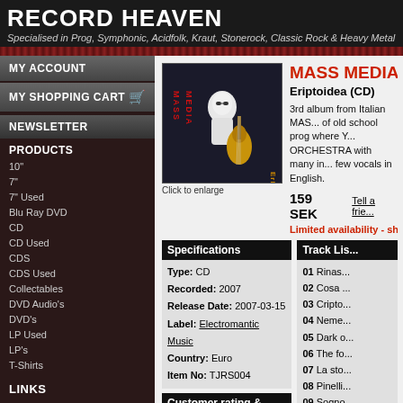RECORD HEAVEN
Specialised in Prog, Symphonic, Acidfolk, Kraut, Stonerock, Classic Rock & Heavy Metal
MY ACCOUNT
MY SHOPPING CART
NEWSLETTER
PRODUCTS
10"
7"
7" Used
Blu Ray DVD
CD
CD Used
CDS
CDS Used
Collectables
DVD Audio's
DVD's
LP Used
LP's
T-Shirts
LINKS
CONTACT
MASS MEDIA
Eriptoidea (CD)
3rd album from Italian MASS MEDIA of old school prog where You meet ORCHESTRA with many instruments, few vocals in English.
159 SEK
Tell a friend
Limited availability - ship...
[Figure (photo): Album cover for Mass Media - Eriptoidea showing a white figure holding a guitar against dark background]
Click to enlarge
| Specifications |
| --- |
| Type: CD |
| Recorded: 2007 |
| Release Date: 2007-03-15 |
| Label: Electromantic Music |
| Country: Euro |
| Item No: TJRS004 |
Customer rating & reviews
Rate this item | Review this item
| Track List |
| --- |
| 01 Rinas... |
| 02 Cosa ... |
| 03 Cripto... |
| 04 Neme... |
| 05 Dark o... |
| 06 The fo... |
| 07 La sto... |
| 08 Pinelli... |
| 09 Sogno... |
| 10 Pensa... |
| 11 Tensio... |
| 12 Il sent... |
BROWSE BY ARTIST: MASS MEDIA - 2 ITEMS